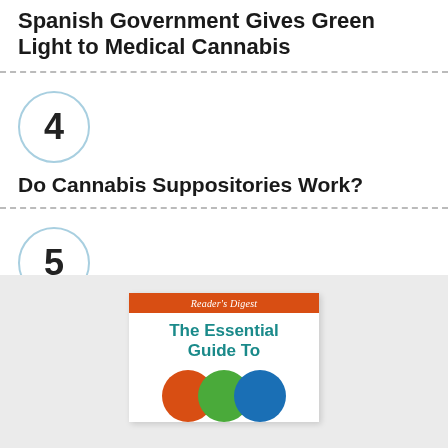Spanish Government Gives Green Light to Medical Cannabis
4
Do Cannabis Suppositories Work?
5
Endogenous DMT: A Scientific Mystery
[Figure (illustration): Reader's Digest book cover: The Essential Guide To, with three overlapping circles in red, green, and blue on a light grey background section]